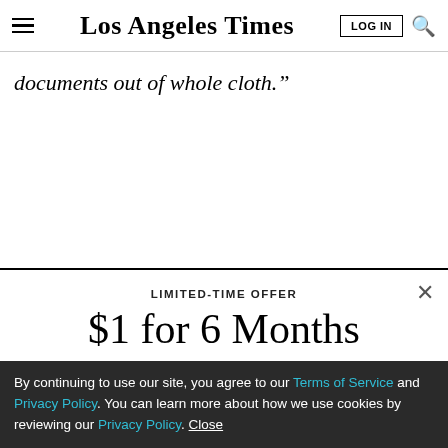Los Angeles Times
documents out of whole cloth.”
LIMITED-TIME OFFER
$1 for 6 Months
SUBSCRIBE NOW
By continuing to use our site, you agree to our Terms of Service and Privacy Policy. You can learn more about how we use cookies by reviewing our Privacy Policy. Close